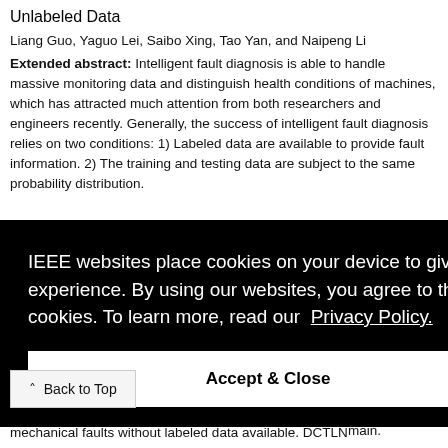Unlabeled Data
Liang Guo, Yaguo Lei, Saibo Xing, Tao Yan, and Naipeng Li
Extended abstract: Intelligent fault diagnosis is able to handle massive monitoring data and distinguish health conditions of machines, which has attracted much attention from both researchers and engineers recently. Generally, the success of intelligent fault diagnosis relies on two conditions: 1) Labeled data are available to provide fault information. 2) The training and testing data are subject to the same probability distribution.
[Figure (screenshot): IEEE cookie consent overlay with text: IEEE websites place cookies on your device to give you the best user experience. By using our websites, you agree to the placement of these cookies. To learn more, read our Privacy Policy. Accept & Close button shown.]
mechanical faults without labeled data available. DCTLN